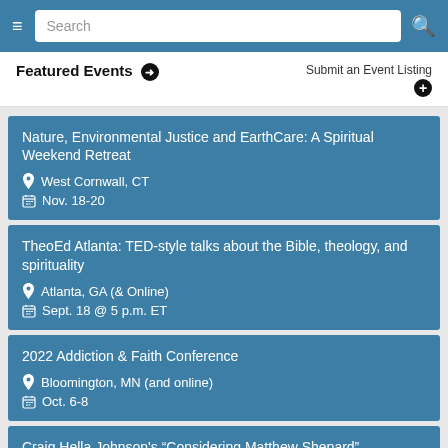Navigation bar with hamburger menu, search box, and search icon
Featured Events →
Submit an Event Listing +
Nature, Environmental Justice and EarthCare: A Spiritual Weekend Retreat | West Cornwall, CT | Nov. 18-20
TheoEd Atlanta: TED-style talks about the Bible, theology, and spirituality | Atlanta, GA (& Online) | Sept. 18 @ 5 p.m. ET
2022 Addiction & Faith Conference | Bloomington, MN (and online) | Oct. 6-8
Craig Hella Johnson's "Considering Matthew Shepard" | New York, NY (and online) | Sept. 15-17